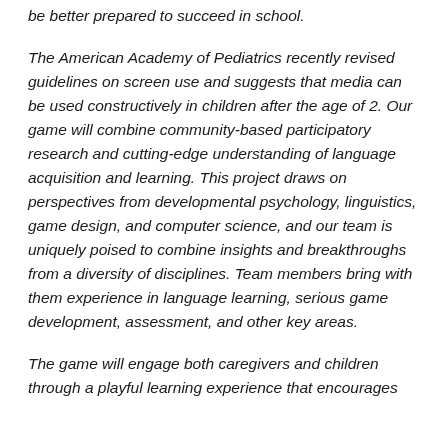be better prepared to succeed in school.
The American Academy of Pediatrics recently revised guidelines on screen use and suggests that media can be used constructively in children after the age of 2. Our game will combine community-based participatory research and cutting-edge understanding of language acquisition and learning. This project draws on perspectives from developmental psychology, linguistics, game design, and computer science, and our team is uniquely poised to combine insights and breakthroughs from a diversity of disciplines. Team members bring with them experience in language learning, serious game development, assessment, and other key areas.
The game will engage both caregivers and children through a playful learning experience that encourages